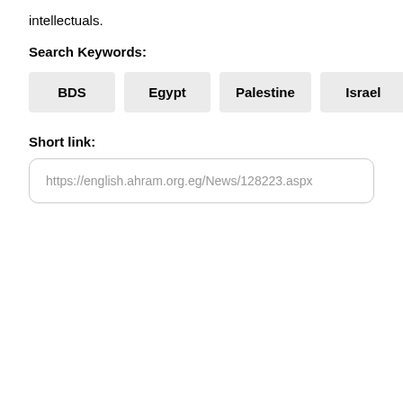intellectuals.
Search Keywords:
BDS
Egypt
Palestine
Israel
Short link:
https://english.ahram.org.eg/News/128223.aspx